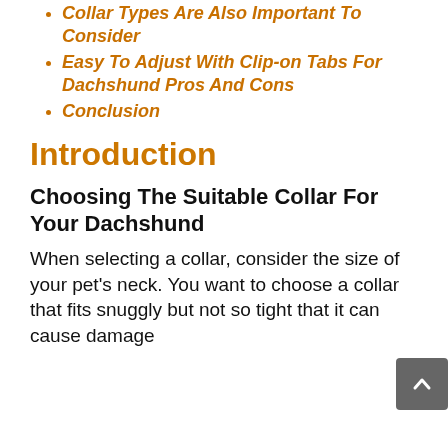Collar Types Are Also Important To Consider
Easy To Adjust With Clip-on Tabs For Dachshund Pros And Cons
Conclusion
Introduction
Choosing The Suitable Collar For Your Dachshund
When selecting a collar, consider the size of your pet's neck. You want to choose a collar that fits snuggly but not so tight that it can cause damage